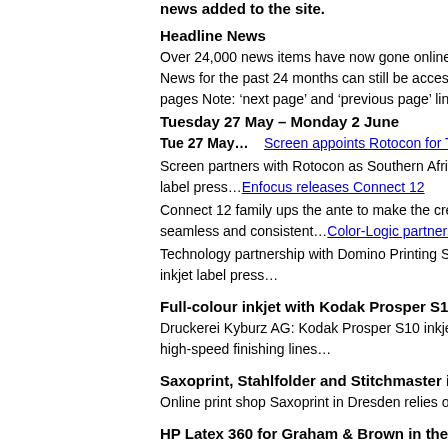news added to the site.
Headline News
Over 24,000 news items have now gone online since w... News for the past 24 months can still be accessed via pages Note: 'next page' and 'previous page' links appe...
Tuesday 27 May – Monday 2 June
Tue 27 May…  Screen appoints Rotocon for Truep...
Screen partners with Rotocon as Southern Africa resel label press...Enfocus releases Connect 12
Connect 12 family ups the ante to make the creation, s seamless and consistent…Color-Logic partners with...
Technology partnership with Domino Printing Sciences inkjet label press…
Full-colour inkjet with Kodak Prosper S10 at Kybur...
Druckerei Kyburz AG: Kodak Prosper S10 inkjet for ma high-speed finishing lines…
Saxoprint, Stahlfolder and Stitchmaster in perfect h...
Online print shop Saxoprint in Dresden relies on highly...
HP Latex 360 for Graham & Brown in the UK
International wall decoration specialist Graham & Brow... End Solutions...